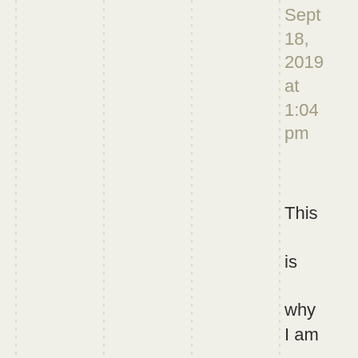Sept 18, 2019 at 1:04 pm
This is why I am grateful for the Sand camp abso unwi to